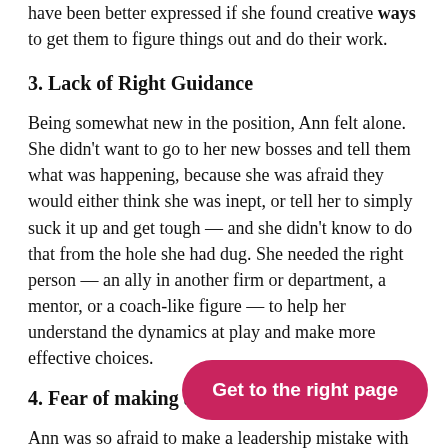have been better expressed if she found creative ways to get them to figure things out and do their work.
3. Lack of Right Guidance
Being somewhat new in the position, Ann felt alone. She didn't want to go to her new bosses and tell them what was happening, because she was afraid they would either think she was inept, or tell her to simply suck it up and get tough — and she didn't know to do that from the hole she had dug. She needed the right person — an ally in another firm or department, a mentor, or a coach-like figure — to help her understand the dynamics at play and make more effective choices.
4. Fear of making a mistake
Ann was so afraid to make a leadership mistake with her team, by upsetting them or working them too hard, that she didn't realize she was making one by not pointing them to their work. In order to really step into her authority, Ann needed to accept that there would be times when she might not be liked and there were times when she would empathetic nature would assist h necessary amends. She needed to see that her team actually
Get to the right page